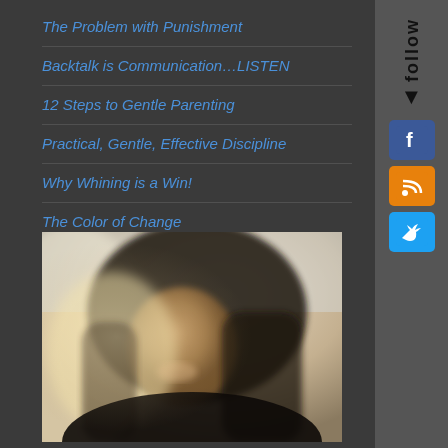The Problem with Punishment
Backtalk is Communication…LISTEN
12 Steps to Gentle Parenting
Practical, Gentle, Effective Discipline
Why Whining is a Win!
The Color of Change
[Figure (photo): Portrait photo of a woman with long dark hair, smiling slightly, with a blurred light background, warm-toned/sepia style lighting]
[Figure (infographic): Sidebar with 'follow' text label and arrow, and social media icons for Facebook, RSS feed, and Twitter]